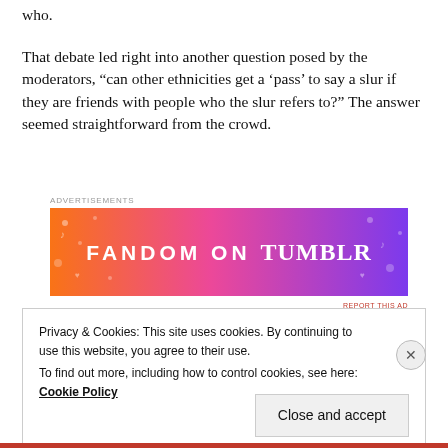who.
That debate led right into another question posed by the moderators, “can other ethnicities get a ‘pass’ to say a slur if they are friends with people who the slur refers to?” The answer seemed straightforward from the crowd.
[Figure (other): Fandom on Tumblr advertisement banner with orange-to-purple gradient and decorative doodles]
Privacy & Cookies: This site uses cookies. By continuing to use this website, you agree to their use.
To find out more, including how to control cookies, see here: Cookie Policy